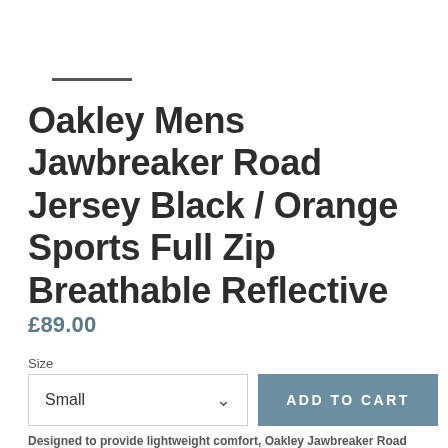Oakley Mens Jawbreaker Road Jersey Black / Orange Sports Full Zip Breathable Reflective
£89.00
Size
Small
ADD TO CART
Designed to provide lightweight comfort, Oakley Jawbreaker Road Jersey the has been constructed using a polyester and